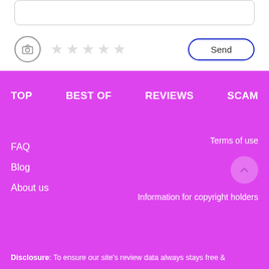[Figure (screenshot): UI form with text input box, camera icon, star rating, and Send button on white background]
TOP
BEST OF
REVIEWS
SCAM
FAQ
Blog
About us
Terms of use
Information for copyright holders
Disclosure: To ensure our site's review data always stays free &